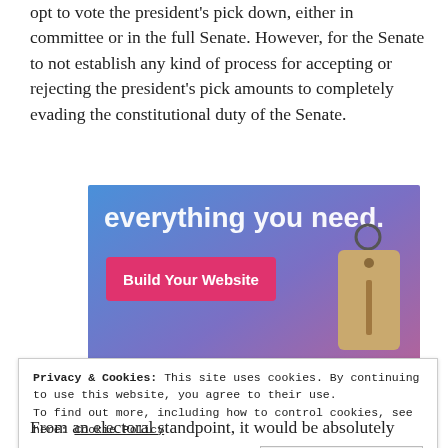opt to vote the president's pick down, either in committee or in the full Senate. However, for the Senate to not establish any kind of process for accepting or rejecting the president's pick amounts to completely evading the constitutional duty of the Senate.
[Figure (screenshot): Advertisement banner with gradient blue-purple background showing text 'everything you need.' and a pink 'Build Your Website' button, with a price tag graphic on the right side.]
Privacy & Cookies: This site uses cookies. By continuing to use this website, you agree to their use.
To find out more, including how to control cookies, see here: Cookie Policy
From an electoral standpoint, it would be absolutely